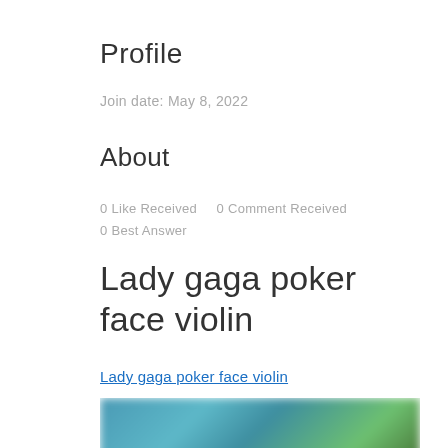Profile
Join date: May 8, 2022
About
0 Like Received    0 Comment Received
0 Best Answer
Lady gaga poker face violin
Lady gaga poker face violin
[Figure (photo): Blurred photo showing people with a teal/green background]